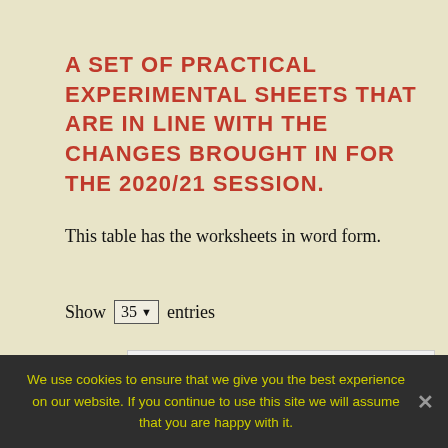A SET OF PRACTICAL EXPERIMENTAL SHEETS THAT ARE IN LINE WITH THE CHANGES BROUGHT IN FOR THE 2020/21 SESSION.
This table has the worksheets in word form.
Show 35 entries
Search:
| Topic | Sheet | Notes |
| --- | --- | --- |
| Dynamics / Space | N5 Hookes Law A | Hookes Law A |
| Dynamics / Space | N5 Hookes Law B | Hookes Law B |
We use cookies to ensure that we give you the best experience on our website. If you continue to use this site we will assume that you are happy with it.